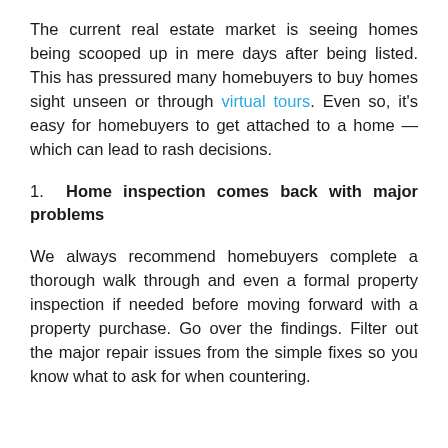The current real estate market is seeing homes being scooped up in mere days after being listed. This has pressured many homebuyers to buy homes sight unseen or through virtual tours. Even so, it's easy for homebuyers to get attached to a home — which can lead to rash decisions.
1. Home inspection comes back with major problems
We always recommend homebuyers complete a thorough walk through and even a formal property inspection if needed before moving forward with a property purchase. Go over the findings. Filter out the major repair issues from the simple fixes so you know what to ask for when countering.